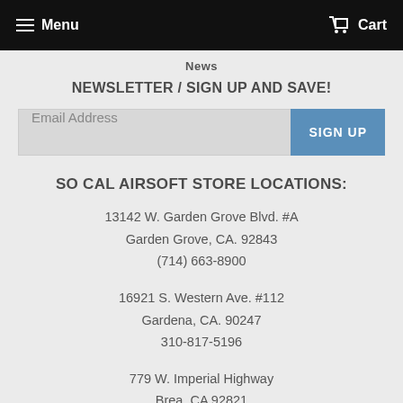Menu   Cart
News
NEWSLETTER / SIGN UP AND SAVE!
Email Address   SIGN UP
SO CAL AIRSOFT STORE LOCATIONS:
13142 W. Garden Grove Blvd. #A
Garden Grove, CA. 92843
(714) 663-8900
16921 S. Western Ave. #112
Gardena, CA. 90247
310-817-5196
779 W. Imperial Highway
Brea, CA 92821
(714) 332-0465